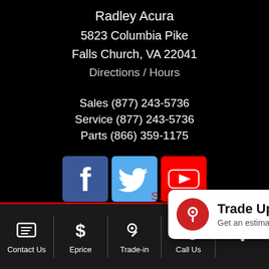Radley Acura
5823 Columbia Pike
Falls Church, VA 22041
Directions / Hours
Sales (877) 243-5736
Service (877) 243-5736
Parts (866) 359-1175
[Figure (logo): Facebook, Twitter, and YouTube social media icons in a row]
[Figure (infographic): Popup notification with red key icon, title Trade Up, subtitle Get an estimate on your trade-in]
Online Cre...
Calculate Payments
Contact Us | Eprice | Trade-in | Call Us | More